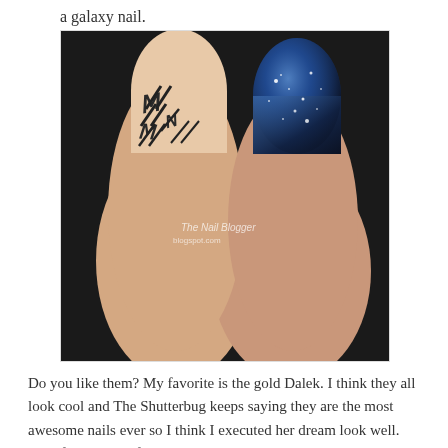a galaxy nail.
[Figure (photo): Two fingers close-up: left finger has a nail painted with black geometric/arrow patterns on a nude/skin-toned base; right finger has a dark galaxy-themed nail with blue, teal, and white star-like sparkles. A watermark in the center reads 'TheNailBlogger.blogspot.com'.]
Do you like them? My favorite is the gold Dalek. I think they all look cool and The Shutterbug keeps saying they are the most awesome nails ever so I think I executed her dream look well. Hopefully those of you who are